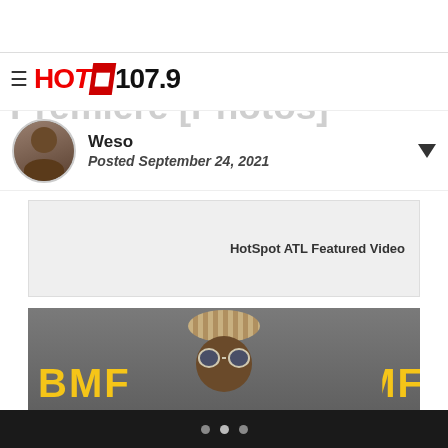HOT 107.9
Star-Studded Night At The BMF World Premiere [Photos]
Weso
Posted September 24, 2021
[Figure (other): HotSpot ATL Featured Video box - gray background with text]
[Figure (photo): Person wearing a knit head wrap and round sunglasses at the BMF World Premiere, with BMF text visible in gold on a gray backdrop]